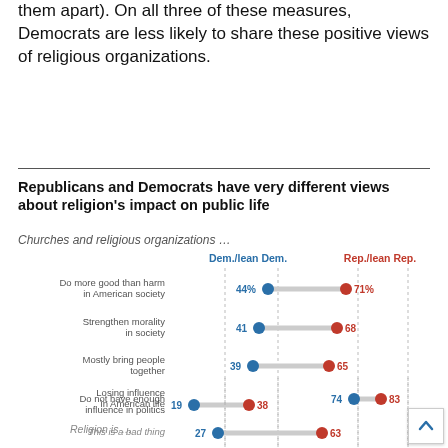them apart). On all three of these measures, Democrats are less likely to share these positive views of religious organizations.
Republicans and Democrats have very different views about religion's impact on public life
Churches and religious organizations …
[Figure (scatter-plot): Republicans and Democrats have very different views about religion's impact on public life]